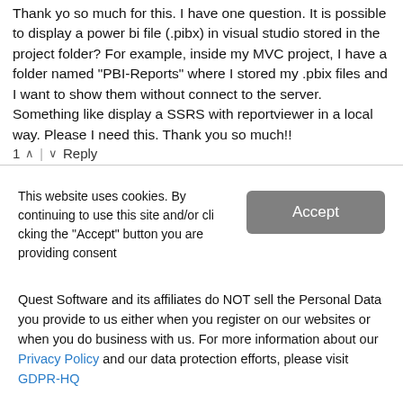Thank yo so much for this. I have one question. It is possible to display a power bi file (.pibx) in visual studio stored in the project folder? For example, inside my MVC project, I have a folder named "PBI-Reports" where I stored my .pbix files and I want to show them without connect to the server. Something like display a SSRS with reportviewer in a local way. Please I need this. Thank you so much!!
1 ∧ | ∨ Reply
This website uses cookies. By continuing to use this site and/or clicking the "Accept" button you are providing consent
Quest Software and its affiliates do NOT sell the Personal Data you provide to us either when you register on our websites or when you do business with us. For more information about our Privacy Policy and our data protection efforts, please visit GDPR-HQ